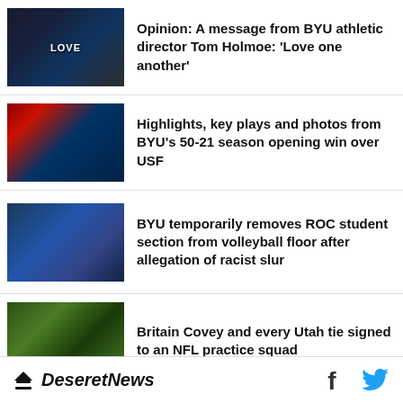Opinion: A message from BYU athletic director Tom Holmoe: ‘Love one another’
Highlights, key plays and photos from BYU’s 50-21 season opening win over USF
BYU temporarily removes ROC student section from volleyball floor after allegation of racist slur
Britain Covey and every Utah tie signed to an NFL practice squad
Perspective: Parents, don’t
Deseret News